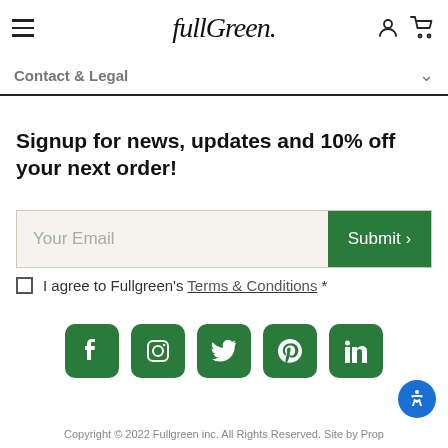Fullgreen
Contact & Legal
Signup for news, updates and 10% off your next order!
Your Email — Submit
I agree to Fullgreen's Terms & Conditions *
[Figure (logo): Social media icons: Facebook, Instagram, Twitter, Pinterest, LinkedIn]
Copyright © 2022 Fullgreen inc. All Rights Reserved. Site by Prop